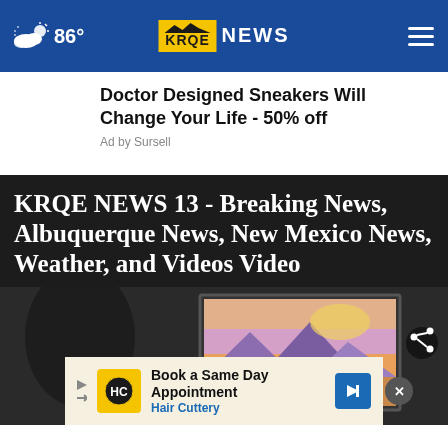86° KRQE NEWS
Doctor Designed Sneakers Will Change Your Life - 50% off
Ad by Sursell
KRQE NEWS 13 - Breaking News, Albuquerque News, New Mexico News, Weather, and Videos Video
[Figure (screenshot): Hero image area showing a colorful landscape painting in a frame on a dark wall, with a share icon overlay on the right side]
Book a Same Day Appointment Hair Cuttery